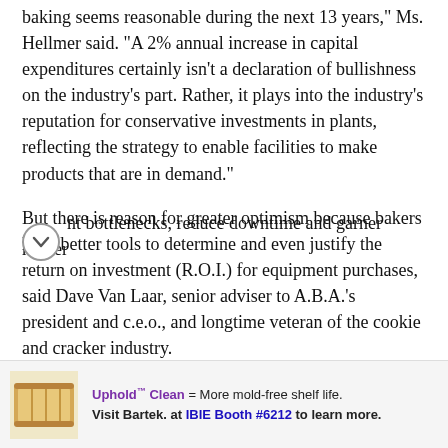baking seems reasonable during the next 13 years," Ms. Hellmer said. "A 2% annual increase in capital expenditures certainly isn't a declaration of bullishness on the industry's part. Rather, it plays into the industry's reputation for conservative investments in plants, reflecting the strategy to enable facilities to make products that are in demand."
But there is reason for greater optimism because bakers have better tools to determine and even justify the return on investment (R.O.I.) for equipment purchases, said Dave Van Laar, senior adviser to A.B.A.'s president and c.e.o., and longtime veteran of the cookie and cracker industry.
Since 2012, he observed, more sophisticated and user-friendly data management systems are allowing operations to identify bottlenecks, reduce downtime and garner higher...
[Figure (other): Advertisement banner for Bartek featuring bread image. Text: Uphold™ Clean = More mold-free shelf life. Visit Bartek. at IBIE Booth #6212 to learn more.]